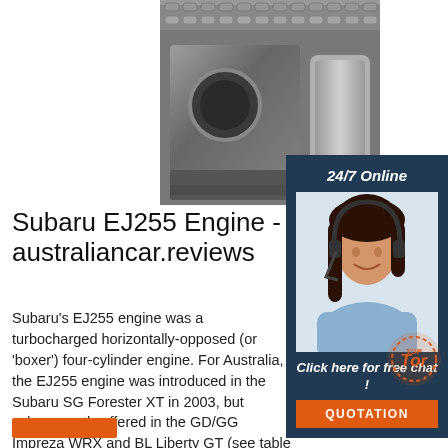[Figure (photo): Close-up photo of a mechanical engine component with chains and metal block]
[Figure (photo): 24/7 Online chat service advertisement with woman wearing headset, dark blue background, 'Click here for free chat!' text and orange QUOTATION button]
Subaru EJ255 Engine - australiancar.reviews
Subaru's EJ255 engine was a turbocharged horizontally-opposed (or 'boxer') four-cylinder engine. For Australia, the EJ255 engine was introduced in the Subaru SG Forester XT in 2003, but subsequently offered in the GD/GG Impreza WRX and BL Liberty GT (see table below). Developed in conjunction with the more powerful EJ257 engine, key features for the EJ255 ...